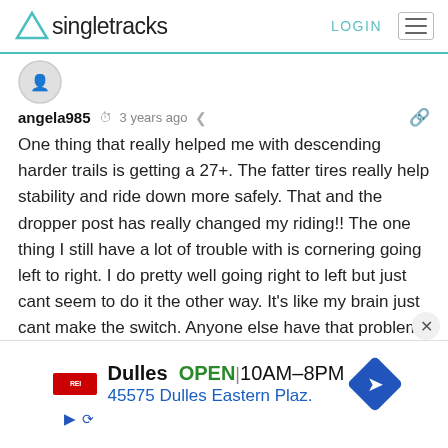Singletracks  LOGIN
[Figure (screenshot): Avatar icon for user angela985]
angela985  3 years ago
One thing that really helped me with descending harder trails is getting a 27+. The fatter tires really help stability and ride down more safely. That and the dropper post has really changed my riding!! The one thing I still have a lot of trouble with is cornering going left to right. I do pretty well going right to left but just cant seem to do it the other way. It's like my brain just cant make the switch. Anyone else have that problem? I have to say I would never go back to flat pedals. I would be more scared riding up and down even though I have had wrecks when I fell over or couldn't get my foot out that
[Figure (infographic): Advertisement banner: Dulles OPEN 10AM-8PM, 45575 Dulles Eastern Plaz. with directional arrow icon and REI logo]